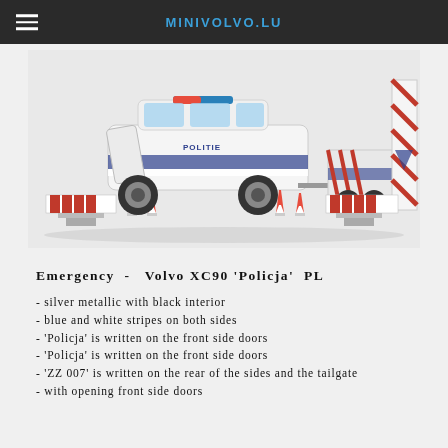MINIVOLVO.LU
[Figure (photo): Toy model set: Volvo XC90 Policja police car with trailer and road barriers/cones accessories]
Emergency  -  Volvo XC90 'Policja'  PL
- silver metallic with black interior
- blue and white stripes on both sides
- 'Policja' is written on the front side doors
- 'Policja' is written on the front side doors
- 'ZZ 007' is written on the rear of the sides and the tailgate
- with opening front side doors